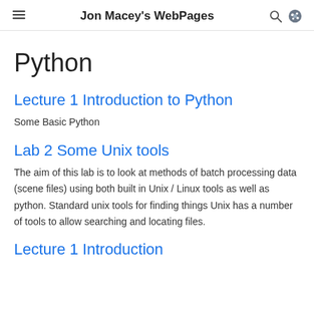Jon Macey's WebPages
Python
Lecture 1 Introduction to Python
Some Basic Python
Lab 2 Some Unix tools
The aim of this lab is to look at methods of batch processing data (scene files) using both built in Unix / Linux tools as well as python. Standard unix tools for finding things Unix has a number of tools to allow searching and locating files.
Lecture 1 Introduction